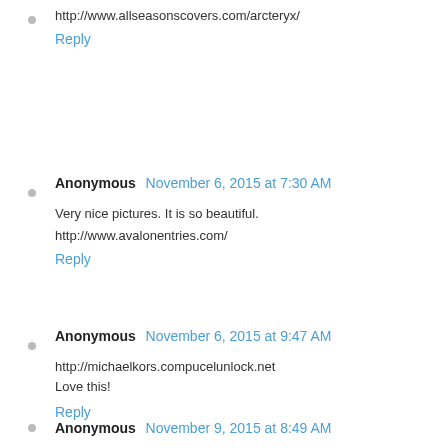http://www.allseasonscovers.com/arcteryx/
Reply
Anonymous  November 6, 2015 at 7:30 AM
Very nice pictures. It is so beautiful.
http://www.avalonentries.com/
Reply
Anonymous  November 6, 2015 at 9:47 AM
http://michaelkors.compucelunlock.net
Love this!
Reply
Anonymous  November 9, 2015 at 8:49 AM
The mini pictures are so fun to